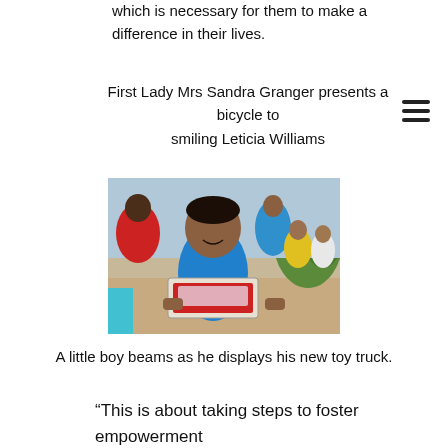which is necessary for them to make a difference in their lives.
First Lady Mrs Sandra Granger presents a bicycle to smiling Leticia Williams
[Figure (photo): A little boy smiling and holding up a toy truck box, surrounded by other children and an adult woman in a red jacket in the background, outdoor sandy setting.]
A little boy beams as he displays his new toy truck.
“This is about taking steps to foster empowerment